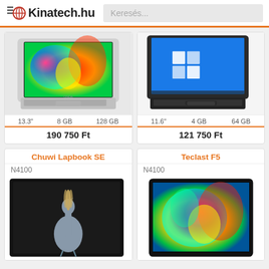Kinatech.hu | Keresés...
[Figure (photo): Silver laptop open showing colorful flower wallpaper on display]
13.3"  8 GB  128 GB
190 750 Ft
[Figure (photo): Dark/black laptop open showing Windows 10 desktop on display]
11.6"  4 GB  64 GB
121 750 Ft
Chuwi Lapbook SE
N4100
[Figure (photo): Black tablet-style laptop with crane bird image on dark background]
Teclast F5
N4100
[Figure (photo): Tablet with colorful flower wallpaper display]